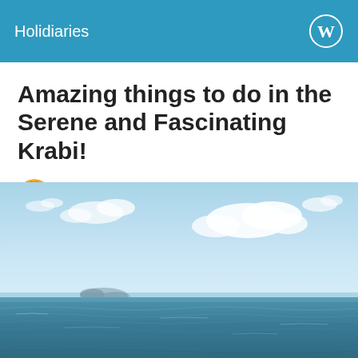Holidiaries
Amazing things to do in the Serene and Fascinating Krabi!
HoliDiaries    5 years ago
[Figure (photo): Panoramic view of the sea near Krabi, Thailand, with calm blue-green water in the foreground, distant small island or mountain on the horizon, and a partly cloudy light blue sky.]